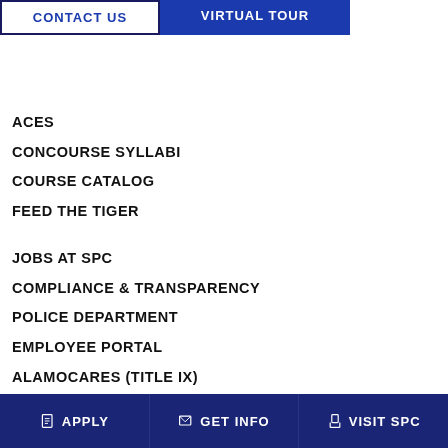CONTACT US
VIRTUAL TOUR
ACES
CONCOURSE SYLLABI
COURSE CATALOG
FEED THE TIGER
JOBS AT SPC
COMPLIANCE & TRANSPARENCY
POLICE DEPARTMENT
EMPLOYEE PORTAL
ALAMOCARES (TITLE IX)
MENTAL HEALTH COUNSELING
APPLY   GET INFO   VISIT SPC